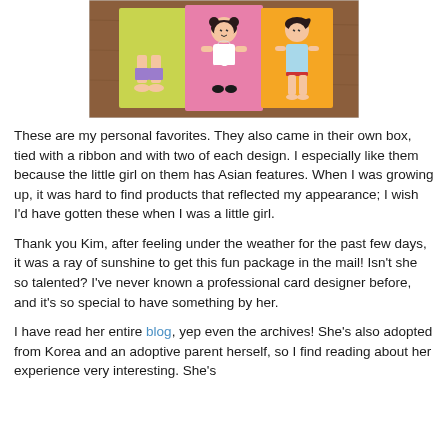[Figure (photo): Three illustrated greeting cards on a wooden table surface. Left card has yellow/green background showing cartoon girls' legs in purple pants. Middle card has pink background with cartoon Asian girl in white top and pink patterned pants. Right card has orange background with cartoon Asian girl in light blue dress.]
These are my personal favorites. They also came in their own box, tied with a ribbon and with two of each design. I especially like them because the little girl on them has Asian features. When I was growing up, it was hard to find products that reflected my appearance; I wish I'd have gotten these when I was a little girl.
Thank you Kim, after feeling under the weather for the past few days, it was a ray of sunshine to get this fun package in the mail! Isn't she so talented? I've never known a professional card designer before, and it's so special to have something by her.
I have read her entire blog, yep even the archives! She's also adopted from Korea and an adoptive parent herself, so I find reading about her experience very interesting. She's